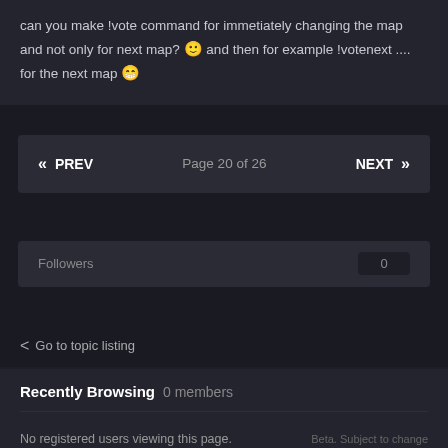can you make !vote command for immetiately changing the map and not only for next map? 🙂 and then for example !votenext .... for the next map 😁
« PREV   Page 20 of 26   NEXT »
Followers  0
< Go to topic listing
Recently Browsing  0 members
No registered users viewing this page.
Beta. Subject to change